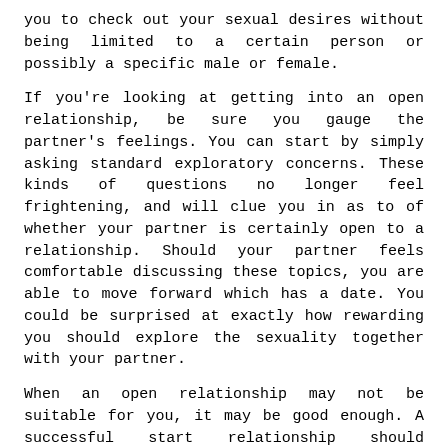you to check out your sexual desires without being limited to a certain person or possibly a specific male or female.
If you're looking at getting into an open relationship, be sure you gauge the partner's feelings. You can start by simply asking standard exploratory concerns. These kinds of questions no longer feel frightening, and will clue you in as to of whether your partner is certainly open to a relationship. Should your partner feels comfortable discussing these topics, you are able to move forward which has a date. You could be surprised at exactly how rewarding you should explore the sexuality together with your partner.
When an open relationship may not be suitable for you, it may be good enough. A successful start relationship should certainly be able to foster common trust. Ideally, both partners will feel similar to the way about each other, but if they don't, you may lose yourself in the process. When you're not comfortable sharing your psychological or physical life with the additional person, you must not get into an open relationship. It may not be a good choice for you, therefore be prepared to produce a trial.